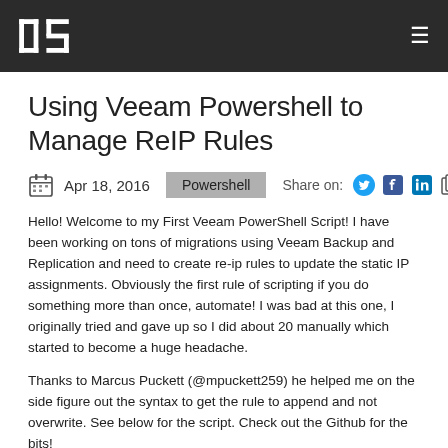ds [logo] [hamburger menu]
Using Veeam Powershell to Manage ReIP Rules
Apr 18, 2016  Powershell  Share on: [Twitter] [Facebook] [LinkedIn] [Copy]
Hello! Welcome to my First Veeam PowerShell Script! I have been working on tons of migrations using Veeam Backup and Replication and need to create re-ip rules to update the static IP assignments. Obviously the first rule of scripting if you do something more than once, automate! I was bad at this one, I originally tried and gave up so I did about 20 manually which started to become a huge headache.
Thanks to Marcus Puckett (@mpuckett259) he helped me on the side figure out the syntax to get the rule to append and not overwrite. See below for the script. Check out the Github for the bits!